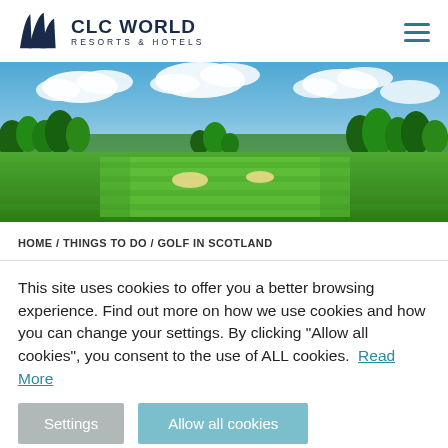CLC WORLD RESORTS & HOTELS
[Figure (photo): Panoramic view of a lush green golf course with trees under a blue sky with white clouds]
HOME / THINGS TO DO / GOLF IN SCOTLAND
This site uses cookies to offer you a better browsing experience. Find out more on how we use cookies and how you can change your settings. By clicking “Allow all cookies”, you consent to the use of ALL cookies.  Read More
Settings  Allow all cookies